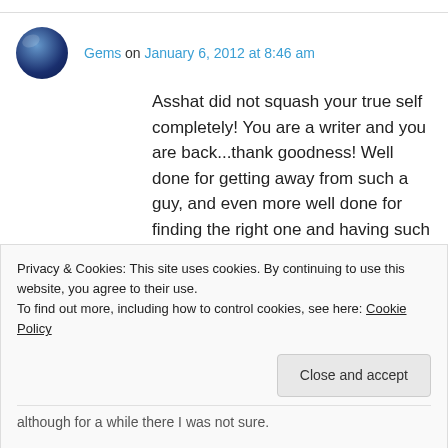Gems on January 6, 2012 at 8:46 am
Asshat did not squash your true self completely! You are a writer and you are back...thank goodness! Well done for getting away from such a guy, and even more well done for finding the right one and having such a beautiful family. xxx
↳ Reply
Privacy & Cookies: This site uses cookies. By continuing to use this website, you agree to their use. To find out more, including how to control cookies, see here: Cookie Policy
Close and accept
although for a while there I was not sure.